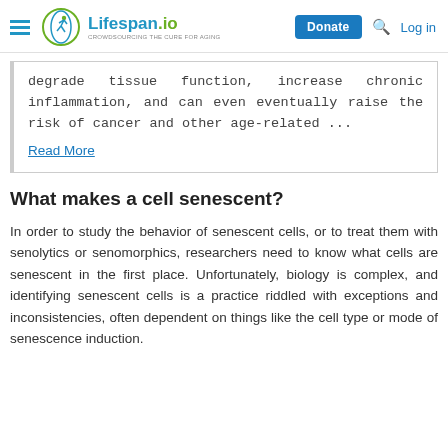Lifespan.io — Donate | Log in
degrade tissue function, increase chronic inflammation, and can even eventually raise the risk of cancer and other age-related ...
Read More
What makes a cell senescent?
In order to study the behavior of senescent cells, or to treat them with senolytics or senomorphics, researchers need to know what cells are senescent in the first place. Unfortunately, biology is complex, and identifying senescent cells is a practice riddled with exceptions and inconsistencies, often dependent on things like the cell type or mode of senescence induction.